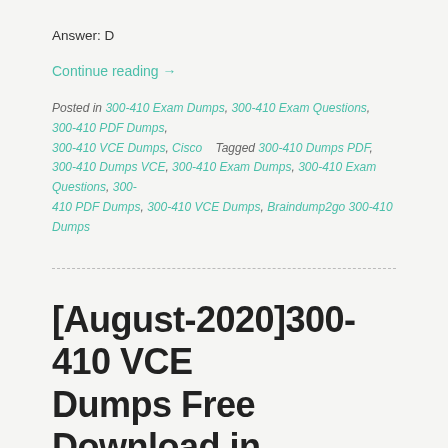Answer: D
Continue reading →
Posted in 300-410 Exam Dumps, 300-410 Exam Questions, 300-410 PDF Dumps, 300-410 VCE Dumps, Cisco   Tagged 300-410 Dumps PDF, 300-410 Dumps VCE, 300-410 Exam Dumps, 300-410 Exam Questions, 300-410 PDF Dumps, 300-410 VCE Dumps, Braindump2go 300-410 Dumps
[August-2020]300-410 VCE Dumps Free Download in Braindump2go[Q47-Q62]
Posted on August 28, 2020